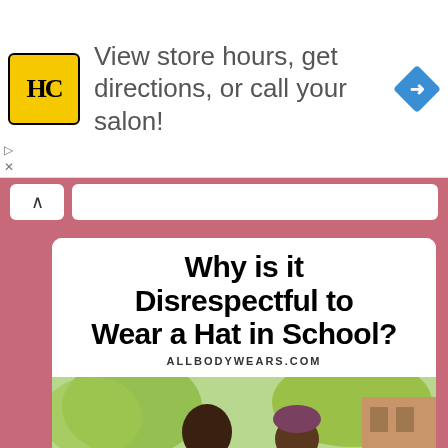[Figure (logo): HC salon logo - yellow square with HC letters and navigation arrow icon. Ad banner: View store hours, get directions, or call your salon!]
View store hours, get directions, or call your salon!
Why is it Disrespectful to Wear a Hat in School?
ALLBODYWEARS.COM
[Figure (photo): Two girls walking with backpacks near a school building with trees in the background. One girl wears a maroon/purple beanie hat.]